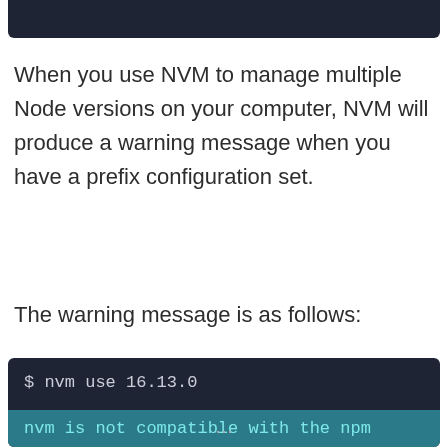[Figure (screenshot): Dark terminal/code block at top of page, partially visible]
When you use NVM to manage multiple Node versions on your computer, NVM will produce a warning message when you have a prefix configuration set.
The warning message is as follows:
[Figure (screenshot): Dark terminal code block showing: $ nvm use 16.13.0 and highlighted line: nvm is not compatible with the npm]